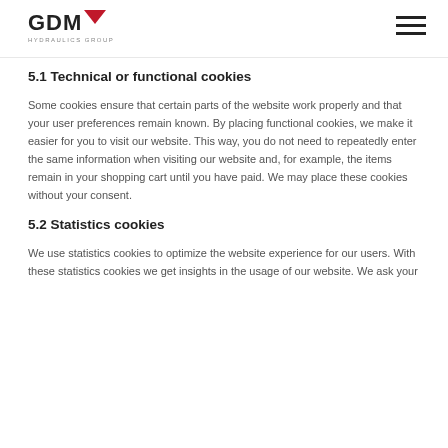GDM HYDRAULICS GROUP
5.1 Technical or functional cookies
Some cookies ensure that certain parts of the website work properly and that your user preferences remain known. By placing functional cookies, we make it easier for you to visit our website. This way, you do not need to repeatedly enter the same information when visiting our website and, for example, the items remain in your shopping cart until you have paid. We may place these cookies without your consent.
5.2 Statistics cookies
We use statistics cookies to optimize the website experience for our users. With these statistics cookies we get insights in the usage of our website. We ask your